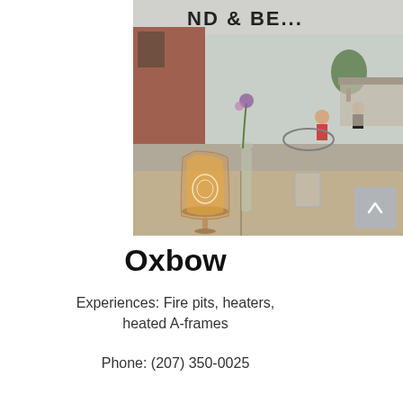[Figure (photo): Outdoor brewery patio photo showing a branded beer glass filled with amber beer in the foreground on a wooden table, a vase with flowers, a glass of water, and in the background people sitting at tables on a brick patio with a circular fire pit area, trees, and a covered bar area. A sign reading 'ND & BE...' is visible at the top.]
Oxbow
Experiences: Fire pits, heaters, heated A-frames
Phone: (207) 350-0025